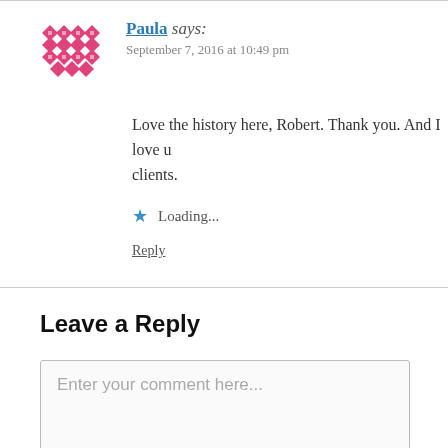Paula says: September 7, 2016 at 10:49 pm
Love the history here, Robert. Thank you. And I love u... clients.
Loading...
Reply
Leave a Reply
Enter your comment here...